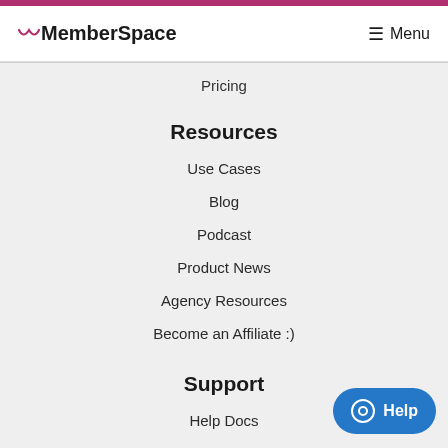MemberSpace  ☰ Menu
Pricing
Resources
Use Cases
Blog
Podcast
Product News
Agency Resources
Become an Affiliate :)
Support
Help Docs